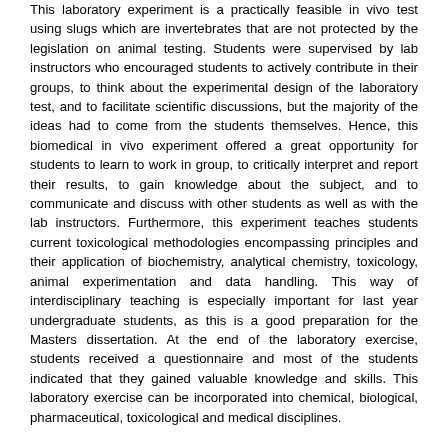This laboratory experiment is a practically feasible in vivo test using slugs which are invertebrates that are not protected by the legislation on animal testing. Students were supervised by lab instructors who encouraged students to actively contribute in their groups, to think about the experimental design of the laboratory test, and to facilitate scientific discussions, but the majority of the ideas had to come from the students themselves. Hence, this biomedical in vivo experiment offered a great opportunity for students to learn to work in group, to critically interpret and report their results, to gain knowledge about the subject, and to communicate and discuss with other students as well as with the lab instructors. Furthermore, this experiment teaches students current toxicological methodologies encompassing principles and their application of biochemistry, analytical chemistry, toxicology, animal experimentation and data handling. This way of interdisciplinary teaching is especially important for last year undergraduate students, as this is a good preparation for the Masters dissertation. At the end of the laboratory exercise, students received a questionnaire and most of the students indicated that they gained valuable knowledge and skills. This laboratory exercise can be incorporated into chemical, biological, pharmaceutical, toxicological and medical disciplines.